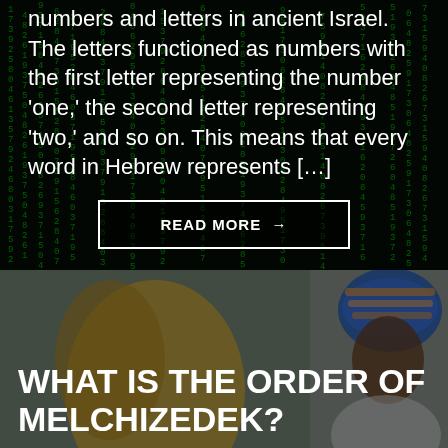[Figure (photo): Dark background with green Matrix-style falling code/numbers, forming the backdrop for text about Hebrew numerology]
numbers and letters in ancient Israel. The letters functioned as numbers with the first letter representing the number 'one,' the second letter representing 'two,' and so on. This means that every word in Hebrew represents […]
READ MORE →
[Figure (photo): A figure wearing a colorful head wrap against a muted background, partially visible, associated with an article about the Order of Melchizedek]
WHAT IS THE ORDER OF MELCHIZEDEK?